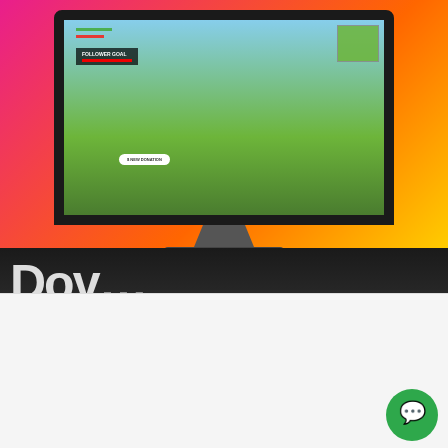[Figure (screenshot): A gaming live stream screenshot showing Fortnite gameplay on a monitor display. The monitor shows a 'FOLLOWER GOAL' overlay bar, HUD elements, a 'NEW DONATION' button, and a minimap. The background behind the monitor is a pink-to-orange-to-yellow gradient.]
We use cookies on our website to give you the most relevant experience by remembering your preferences and repeat visits. By clicking "Accept All", you consent to the use of ALL the cookies. However, you may visit "Cookie Settings" to provide a controlled consent.
Cookie Settings
Accept All